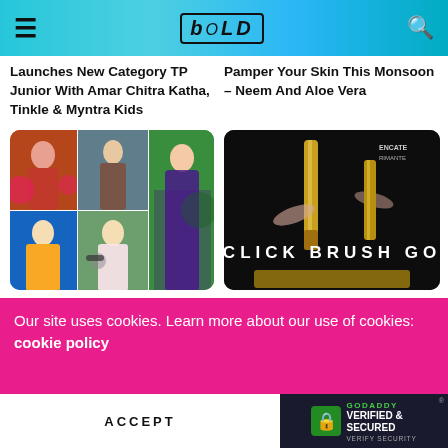BOLD (logo) — navigation bar with hamburger menu and search icon
Launches New Category TP Junior With Amar Chitra Katha, Tinkle & Myntra Kids
Pamper Your Skin This Monsoon – Neem And Aloe Vera
[Figure (photo): Collage of fashion photos showing women in Indian ethnic wear including red outfit, maroon outfit, green floral outfit, yellow outfit, woman with sunglasses in garden, woman in purple lehenga]
[Figure (photo): Dark background image showing golden mascara wand/brush with hands holding it, text overlay: CLICK BRUSH GO, and ENCATE RIMANTE branding visible]
STYLE
STYLE
Amp Up Your Style This
What's Inside Your Travel Tote?
Our site uses cookies. Learn more about our use of cookies: cookie policy
ACCEPT
GODADDY VERIFIED & SECURED VERIFY SECURITY